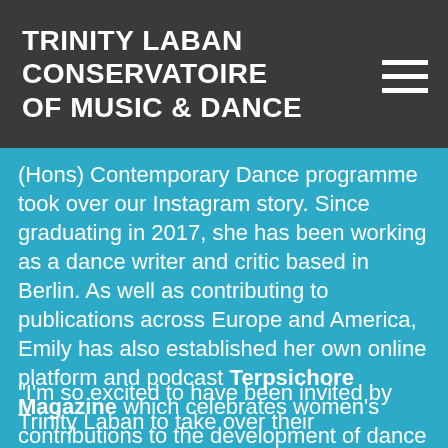TRINITY LABAN CONSERVATOIRE OF MUSIC & DANCE
(Hons) Contemporary Dance programme took over our Instagram story. Since graduating in 2017, she has been working as a dance writer and critic based in Berlin. As well as contributing to publications across Europe and America, Emily has also established her own online platform and podcast Terpsichore Magazine which celebrates women's contributions to the development of dance as an art form.
“I’m so excited to have been invited by Trinity Laban to take over their